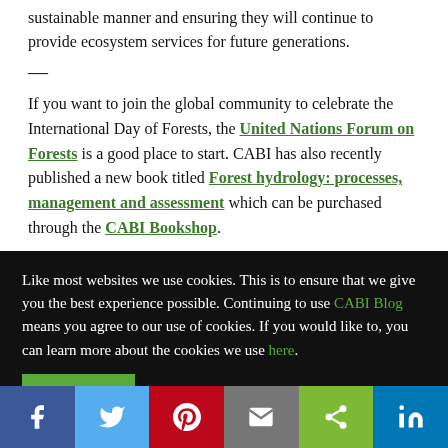sustainable manner and ensuring they will continue to provide ecosystem services for future generations.
—
If you want to join the global community to celebrate the International Day of Forests, the United Nations Forum on Forests is a good place to start. CABI has also recently published a new book titled Forest hydrology: processes, management and assessment which can be purchased through the CABI Bookshop.
Like most websites we use cookies. This is to ensure that we give you the best experience possible. Continuing to use CABI Blog means you agree to our use of cookies. If you would like to, you can learn more about the cookies we use here.
Social sharing bar: Facebook, Twitter, Pinterest, Email, Share, LinkedIn